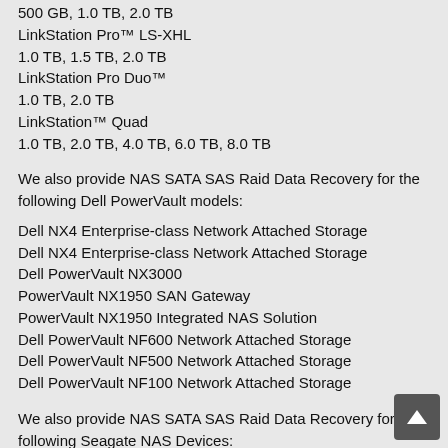500 GB, 1.0 TB, 2.0 TB
LinkStation Pro™ LS-XHL
1.0 TB, 1.5 TB, 2.0 TB
LinkStation Pro Duo™
1.0 TB, 2.0 TB
LinkStation™ Quad
1.0 TB, 2.0 TB, 4.0 TB, 6.0 TB, 8.0 TB
We also provide NAS SATA SAS Raid Data Recovery for the following Dell PowerVault models:
Dell NX4 Enterprise-class Network Attached Storage
Dell NX4 Enterprise-class Network Attached Storage
Dell PowerVault NX3000
PowerVault NX1950 SAN Gateway
PowerVault NX1950 Integrated NAS Solution
Dell PowerVault NF600 Network Attached Storage
Dell PowerVault NF500 Network Attached Storage
Dell PowerVault NF100 Network Attached Storage
We also provide NAS SATA SAS Raid Data Recovery for the following Seagate NAS Devices:
Seagate FreeAgent GoFlex Net STAK100
Seagate BlackArmor Network Attached Storage
GoFlex Home Network Storage System
FreeAgent GoFlex Net Media Sharing Device